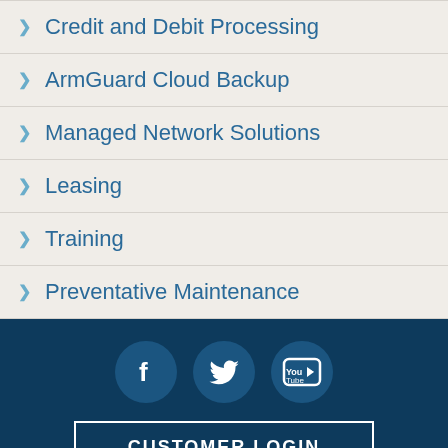Credit and Debit Processing
ArmGuard Cloud Backup
Managed Network Solutions
Leasing
Training
Preventative Maintenance
[Figure (other): Social media icons: Facebook, Twitter, YouTube. Below them a CUSTOMER LOGIN button.]